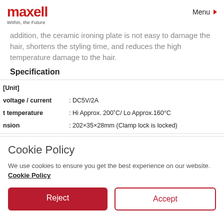maxell / Within the Future | Menu
addition, the ceramic ironing plate is not easy to damage the hair, shortens the styling time, and reduces the high temperature damage to the hair.
Specification
| Property | Value |
| --- | --- |
| [Unit] |  |
| voltage / current | : DC5V/2A |
| t temperature | : Hi Approx. 200˚C/ Lo Approx.160°C |
| nsion | : 202×35×28mm (Clamp lock is locked) |
Cookie Policy
We use cookies to ensure you get the best experience on our website. Cookie Policy
Reject | Accept